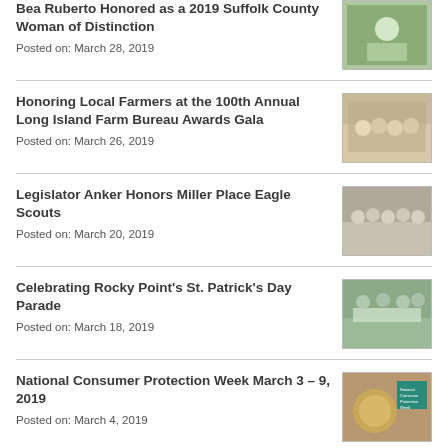Bea Ruberto Honored as a 2019 Suffolk County Woman of Distinction
Posted on: March 28, 2019
[Figure (photo): Photo related to Bea Ruberto honored as 2019 Suffolk County Woman of Distinction]
Honoring Local Farmers at the 100th Annual Long Island Farm Bureau Awards Gala
Posted on: March 26, 2019
[Figure (photo): Group photo at the 100th Annual Long Island Farm Bureau Awards Gala]
Legislator Anker Honors Miller Place Eagle Scouts
Posted on: March 20, 2019
[Figure (photo): Photo of Miller Place Eagle Scouts being honored by Legislator Anker]
Celebrating Rocky Point's St. Patrick's Day Parade
Posted on: March 18, 2019
[Figure (photo): Photo from Rocky Point St. Patrick's Day Parade]
National Consumer Protection Week March 3 – 9, 2019
Posted on: March 4, 2019
[Figure (photo): National Consumer Protection Week March 3-9 graphic with coins]